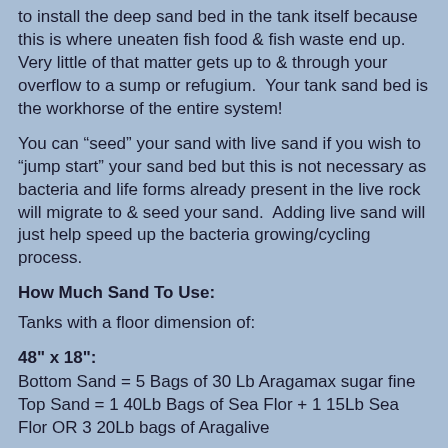to install the deep sand bed in the tank itself because this is where uneaten fish food & fish waste end up.  Very little of that matter gets up to & through your overflow to a sump or refugium.  Your tank sand bed is the workhorse of the entire system!
You can “seed” your sand with live sand if you wish to “jump start” your sand bed but this is not necessary as bacteria and life forms already present in the live rock will migrate to & seed your sand.  Adding live sand will just help speed up the bacteria growing/cycling process.
How Much Sand To Use:
Tanks with a floor dimension of:
48" x 18":
Bottom Sand = 5 Bags of 30 Lb Aragamax sugar fine
Top Sand = 1 40Lb Bags of Sea Flor + 1 15Lb Sea Flor OR 3 20Lb bags of Aragalive
48" x 24":
Bottom Sand = 6 Bags of 30 Lb Aragamax sugar fine
Top Sand = 2 40Lb Bags of Sea Flor OR 4 20Lb bags of